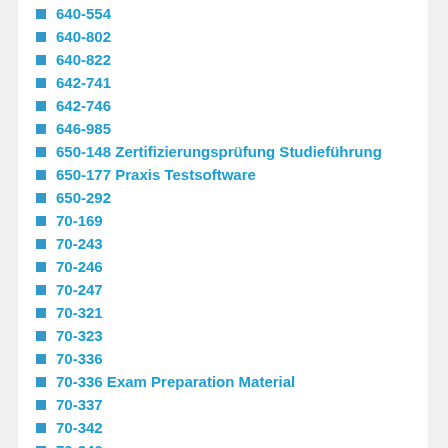640-554
640-802
640-822
642-741
642-746
646-985
650-148 Zertifizierungsprüfung Studieführung
650-177 Praxis Testsoftware
650-292
70-169
70-243
70-246
70-247
70-321
70-323
70-336
70-336 Exam Preparation Material
70-337
70-342
70-346
70-347
70-401